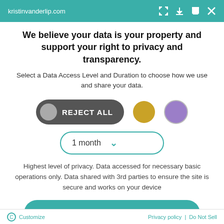kristinvanderlip.com
We believe your data is your property and support your right to privacy and transparency.
Select a Data Access Level and Duration to choose how we use and share your data.
[Figure (other): Three toggle buttons: REJECT ALL (dark grey pill with grey circle), a gold circle button, and a purple circle button]
[Figure (other): Dropdown selector showing '1 month' with a teal chevron arrow, outlined in teal border with rounded corners]
Highest level of privacy. Data accessed for necessary basic operations only. Data shared with 3rd parties to ensure the site is secure and works on your device
[Figure (other): Save my preferences button — large teal rounded rectangle button]
Customize  |  Privacy policy  |  Do Not Sell